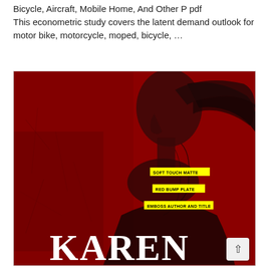Bicycle, Aircraft, Mobile Home, And Other P pdf
This econometric study covers the latent demand outlook for motor bike, motorcycle, moped, bicycle, ...
[Figure (illustration): Book cover image with a deep red background showing a woman's profile silhouette with dark flowing hair. Yellow label callouts pointing to printing features: 'SOFT TOUCH MATTE', 'RED BUMP PLATE', 'EMBOSS AUTHOR AND TITLE'. Large white text 'KAREN' visible at the bottom of the cover.]